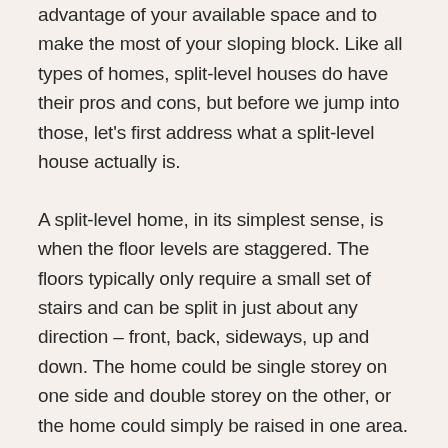advantage of your available space and to make the most of your sloping block. Like all types of homes, split-level houses do have their pros and cons, but before we jump into those, let's first address what a split-level house actually is.
A split-level home, in its simplest sense, is when the floor levels are staggered. The floors typically only require a small set of stairs and can be split in just about any direction – front, back, sideways, up and down. The home could be single storey on one side and double storey on the other, or the home could simply be raised in one area. Split-level homes are often designed for sloping blocks where the home is built into the natural angle of the land. Typically, the aim of split-level homes is to work with the natural landscape of a block, to make the most of available space and to save money by not having to dig super deep into the earth.